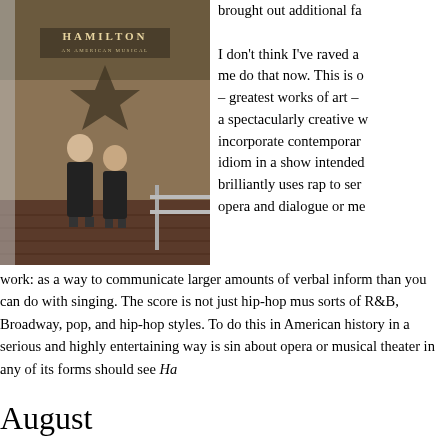[Figure (photo): Two people standing in front of a Hamilton musical poster/backdrop outside a theater, both wearing black clothing]
brought out additional fa

I don't think I've raved a me do that now. This is o – greatest works of art – a spectacularly creative w incorporate contemporar idiom in a show intended brilliantly uses rap to ser opera and dialogue or me
work: as a way to communicate larger amounts of verbal inform than you can do with singing. The score is not just hip-hop mus sorts of R&B, Broadway, pop, and hip-hop styles. To do this in American history in a serious and highly entertaining way is sin about opera or musical theater in any of its forms should see Ha
August